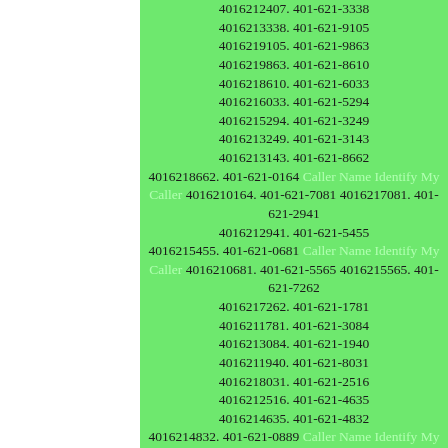4016212407. 401-621-3338 4016213338. 401-621-9105 4016219105. 401-621-9863 4016219863. 401-621-8610 4016218610. 401-621-6033 4016216033. 401-621-5294 4016215294. 401-621-3249 4016213249. 401-621-3143 4016213143. 401-621-8662 4016218662. 401-621-0164 Caller Name Identify My Caller 4016210164. 401-621-7081 4016217081. 401-621-2941 4016212941. 401-621-5455 4016215455. 401-621-0681 Caller Name Identify My Caller 4016210681. 401-621-5565 4016215565. 401-621-7262 4016217262. 401-621-1781 4016211781. 401-621-3084 4016213084. 401-621-1940 4016211940. 401-621-8031 4016218031. 401-621-2516 4016212516. 401-621-4635 4016214635. 401-621-4832 4016214832. 401-621-0889 Caller Name Identify My Caller 4016210889. 401-